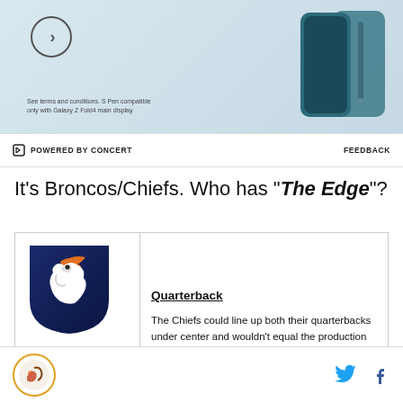[Figure (screenshot): Advertisement banner showing a Samsung Galaxy Z Fold4 phone with a circular arrow button and fine print text about S Pen compatibility.]
POWERED BY CONCERT    FEEDBACK
It's Broncos/Chiefs. Who has "The Edge"?
[Figure (logo): Denver Broncos logo — horse head on navy blue shield background]
Quarterback
The Chiefs could line up both their quarterbacks under center and wouldn't equal the production or skill level of Jay Cutler who is quickly becoming an early MVP candidate.  It is still early, and Cutler has made a couple mistakes that remind us of his
SB Nation logo  [Twitter icon]  [Facebook icon]